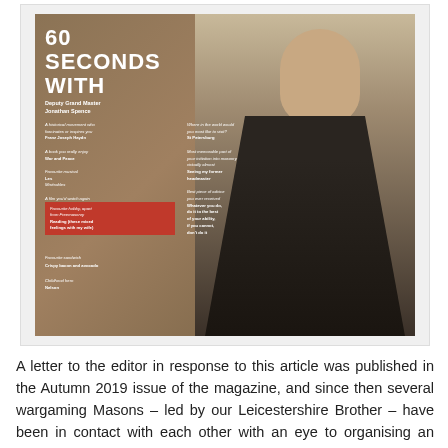[Figure (photo): Magazine page spread titled '60 SECONDS WITH' featuring Deputy Grand Master Jonathan Spence, a man in a dark suit, with Q&A text columns and a red-highlighted answer box on a tan/brown background.]
A letter to the editor in response to this article was published in the Autumn 2019 issue of the magazine, and since then several wargaming Masons – led by our Leicestershire Brother – have been in contact with each other with an eye to organising an informal group or club for wargaming